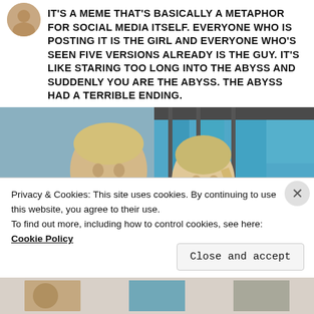[Figure (photo): Avatar/profile image circle at top left of post]
IT'S A MEME THAT'S BASICALLY A METAPHOR FOR SOCIAL MEDIA ITSELF. EVERYONE WHO IS POSTING IT IS THE GIRL AND EVERYONE WHO'S SEEN FIVE VERSIONS ALREADY IS THE GUY. IT'S LIKE STARING TOO LONG INTO THE ABYSS AND SUDDENLY YOU ARE THE ABYSS. THE ABYSS HAD A TERRIBLE ENDING.
[Figure (photo): Photo of a young man and woman at what appears to be an outdoor event or concert, with teal/cyan lights in the background]
Privacy & Cookies: This site uses cookies. By continuing to use this website, you agree to their use.
To find out more, including how to control cookies, see here: Cookie Policy
Close and accept